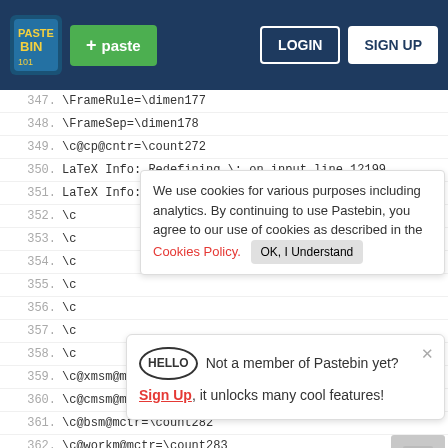Pastebin header with logo, paste button, login and sign up
347.  \FrameRule=\dimen177
348.  \FrameSep=\dimen178
349.  \c@cp@cntr=\count272
350.  LaTeX Info: Redefining \: on input line 12199.
351.  LaTeX Info: Redefining \! on input line 12199.
352.  \c
353.  \c
354.  \c
355.  \c
356.  \c
357.  \c
358.  \c
359.  \c@xmsm@mctr=\count280
360.  \c@cmsm@mctr=\count281
361.  \c@bsm@mctr=\count282
362.  \c@workm@mctr=\count283
363.  \c@sheetsequence=\count284
Cookie banner: We use cookies for various purposes including analytics. By continuing to use Pastebin, you agree to our use of cookies as described in the Cookies Policy. OK, I Understand
Sign up banner: Not a member of Pastebin yet? Sign Up, it unlocks many cool features!